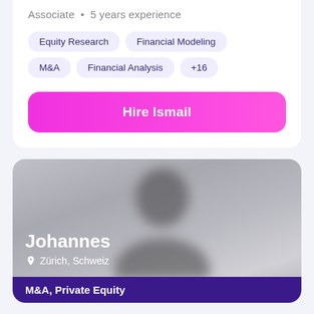Associate  •  5 years experience
Equity Research
Financial Modeling
M&A
Financial Analysis
+16
Hire Ismail
[Figure (photo): Blurred profile photo of a person named Johannes, located in Zürich, Schweiz. The card shows name, location, and specialty M&A, Private Equity at the bottom.]
Johannes
Zürich, Schweiz
M&A, Private Equity